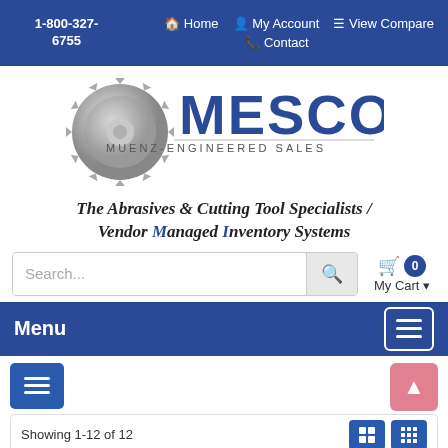1-800-327-6755  Home  My Account  View Compare  Contact
[Figure (logo): MESCO Muenz-Engineered Sales logo with gear/saw blade graphic]
The Abrasives & Cutting Tool Specialists / Vendor Managed Inventory Systems
Search...  My Cart 0
Menu
Showing 1-12 of 12